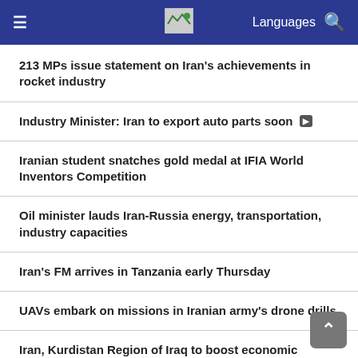≡  [logo]  Languages 🔍
213 MPs issue statement on Iran's achievements in rocket industry
Industry Minister: Iran to export auto parts soon [video]
Iranian student snatches gold medal at IFIA World Inventors Competition
Oil minister lauds Iran-Russia energy, transportation, industry capacities
Iran's FM arrives in Tanzania early Thursday
UAVs embark on missions in Iranian army's drone drills
Iran, Kurdistan Region of Iraq to boost economic cooperation [video]